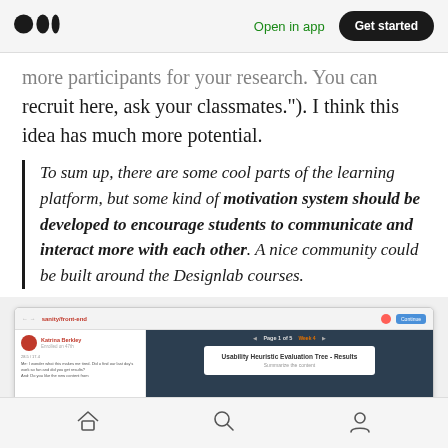Open in app | Get started
more participants for your research. You can recruit here, ask your classmates."). I think this idea has much more potential.
To sum up, there are some cool parts of the learning platform, but some kind of motivation system should be developed to encourage students to communicate and interact more with each other. A nice community could be built around the Designlab courses.
[Figure (screenshot): Screenshot of a web application interface showing a dark-themed learning platform with a sidebar containing a user avatar and text, and a main content area displaying a white card with text 'Usability Heuristics Evaluation Tree - Results' on a dark background.]
Home | Search | Profile